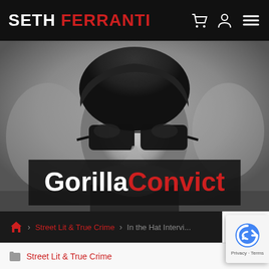SETH FERRANTI
[Figure (photo): Black and white close-up portrait of a man wearing dark sunglasses, with the 'Gorilla Convict' brand overlay banner on the image]
Gorilla Convict
Home > Street Lit & True Crime > In the Hat Intervi...
Street Lit & True Crime